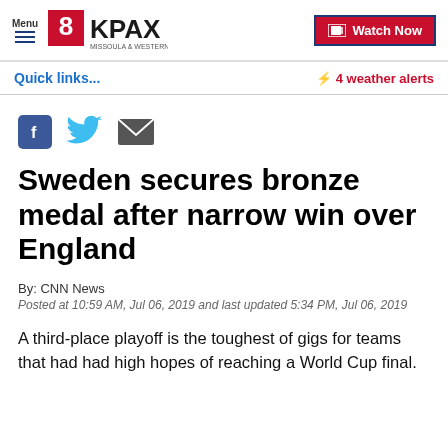Menu | 8KPAX MISSOULA & WESTERN MONTANA | Watch Now
Quick links... ⚡ 4 weather alerts
[Figure (other): Social media share icons: Facebook, Twitter, Email]
Sweden secures bronze medal after narrow win over England
By: CNN News
Posted at 10:59 AM, Jul 06, 2019 and last updated 5:34 PM, Jul 06, 2019
A third-place playoff is the toughest of gigs for teams that had had high hopes of reaching a World Cup final.